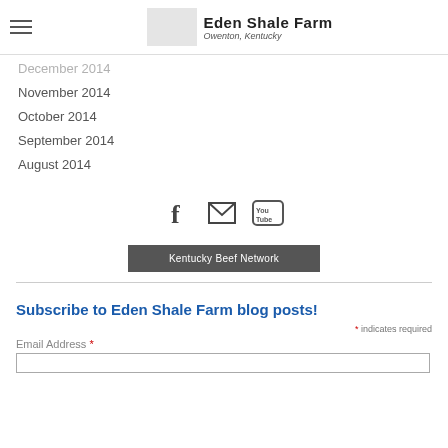Eden Shale Farm — Owenton, Kentucky
December 2014
November 2014
October 2014
September 2014
August 2014
[Figure (infographic): Social media icons: Facebook (f), email envelope, YouTube logo]
Kentucky Beef Network
* indicates required
Subscribe to Eden Shale Farm blog posts!
* indicates required
Email Address *